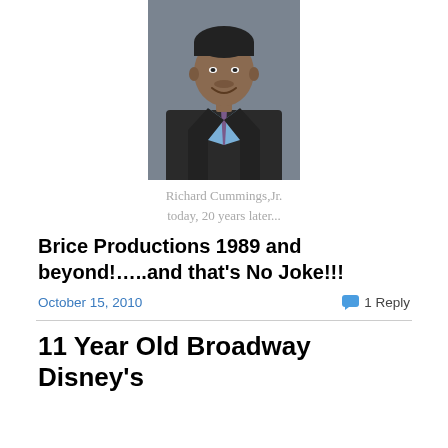[Figure (photo): Portrait photo of Richard Cummings Jr., a man in a dark suit with a light blue shirt and patterned tie, smiling, against a neutral background.]
Richard Cummings,Jr.
today, 20 years later...
Brice Productions 1989 and beyond!…..and that's No Joke!!!
October 15, 2010    1 Reply
11 Year Old Broadway Disney's